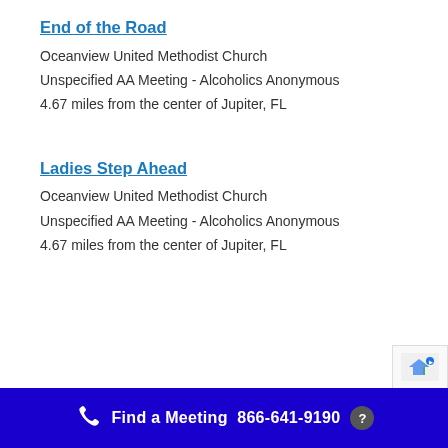End of the Road
Oceanview United Methodist Church
Unspecified AA Meeting - Alcoholics Anonymous
4.67 miles from the center of Jupiter, FL
Ladies Step Ahead
Oceanview United Methodist Church
Unspecified AA Meeting - Alcoholics Anonymous
4.67 miles from the center of Jupiter, FL
Find a Meeting  866-641-9190